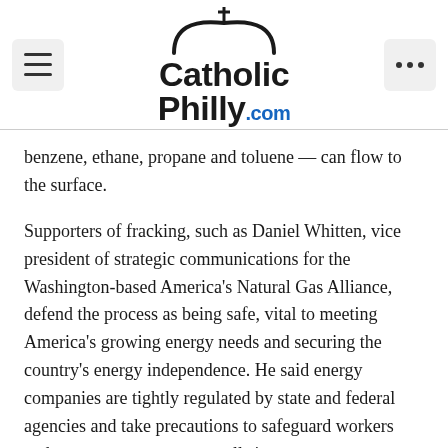CatholicPhilly.com
benzene, ethane, propane and toluene — can flow to the surface.
Supporters of fracking, such as Daniel Whitten, vice president of strategic communications for the Washington-based America's Natural Gas Alliance, defend the process as being safe, vital to meeting America's growing energy needs and securing the country's energy independence. He said energy companies are tightly regulated by state and federal agencies and take precautions to safeguard workers and property owners near well sites.
“There is nothing more important to our industry from a business perspective than doing this right,” Whitten told CNS